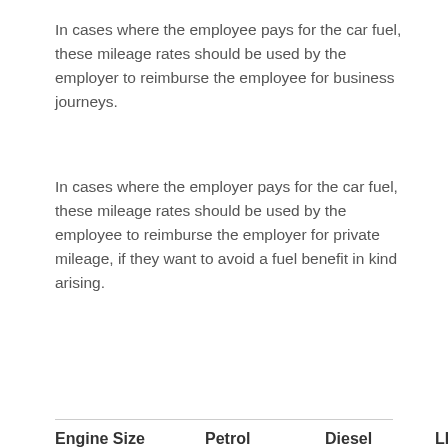In cases where the employee pays for the car fuel, these mileage rates should be used by the employer to reimburse the employee for business journeys.
In cases where the employer pays for the car fuel, these mileage rates should be used by the employee to reimburse the employer for private mileage, if they want to avoid a fuel benefit in kind arising.
| Engine Size | Petrol | Diesel | LPG |
| --- | --- | --- | --- |